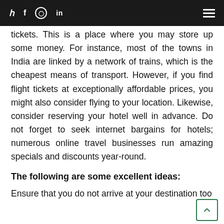y  f  ⓘ  in
tickets. This is a place where you may store up some money. For instance, most of the towns in India are linked by a network of trains, which is the cheapest means of transport. However, if you find flight tickets at exceptionally affordable prices, you might also consider flying to your location. Likewise, consider reserving your hotel well in advance. Do not forget to seek internet bargains for hotels; numerous online travel businesses run amazing specials and discounts year-round.
The following are some excellent ideas:
Ensure that you do not arrive at your destination too